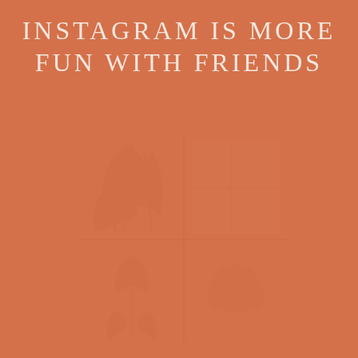INSTAGRAM IS MORE FUN WITH FRIENDS
[Figure (illustration): Faded background illustration of indoor plant/room scene on terracotta/burnt orange background]